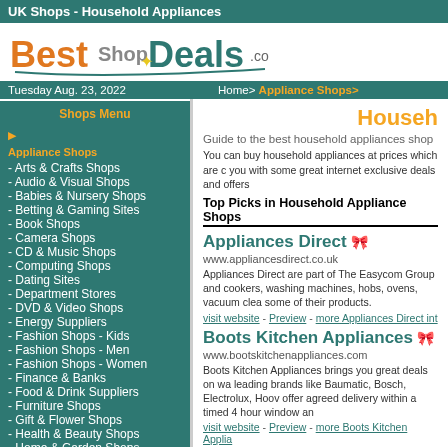UK Shops - Household Appliances
[Figure (logo): BestShopDeals.co.uk logo with orange, teal and grey text]
Tuesday Aug. 23, 2022   Home> Appliance Shops>
Shops Menu
Appliance Shops
- Arts & Crafts Shops
- Audio & Visual Shops
- Babies & Nursery Shops
- Betting & Gaming Sites
- Book Shops
- Camera Shops
- CD & Music Shops
- Computing Shops
- Dating Sites
- Department Stores
- DVD & Video Shops
- Energy Suppliers
- Fashion Shops - Kids
- Fashion Shops - Men
- Fashion Shops - Women
- Finance & Banks
- Food & Drink Suppliers
- Furniture Shops
- Gift & Flower Shops
- Health & Beauty Shops
- Home & Garden Shops
- Insurance Companies
- Jewellery Shops
- Mobile Phones Shops
Househ
Guide to the best household appliances shop
You can buy household appliances at prices which are c you with some great internet exclusive deals and offers
Top Picks in Household Appliance Shops
Appliances Direct
www.appliancesdirect.co.uk
Appliances Direct are part of The Easycom Group and cookers, washing machines, hobs, ovens, vacuum clea some of their products.
visit website - Preview - more Appliances Direct int
Boots Kitchen Appliances
www.bootskitchenappliances.com
Boots Kitchen Appliances brings you great deals on wa leading brands like Baumatic, Bosch, Electrolux, Hoov offer agreed delivery within a timed 4 hour window an
visit website - Preview - more Boots Kitchen Applia
Next Domestic Appliances
www.nextdomesticappliances.co.uk
Next Domestic Appliances is an excellent destination t